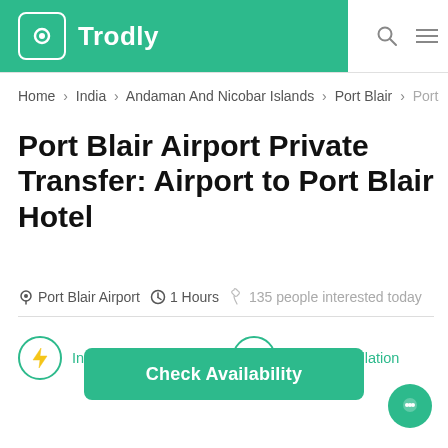Trodly
Home > India > Andaman And Nicobar Islands > Port Blair > Port
Port Blair Airport Private Transfer: Airport to Port Blair Hotel
Port Blair Airport  1 Hours  135 people interested today
Instant Confirmation  Free Cancellation
Check Availability